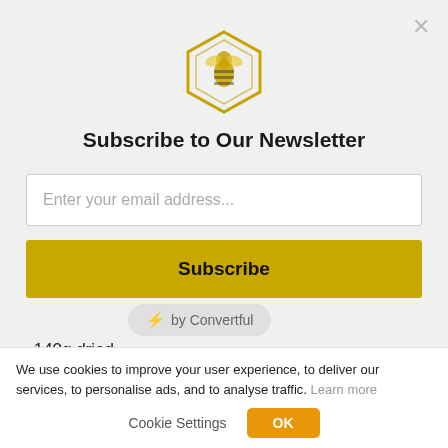[Figure (logo): Real Raw Honey hexagon logo in gold]
Subscribe to Our Newsletter
Enter your email address...
Subscribe
[Figure (other): ⚡ by Convertful badge]
140g dried ...
Cooking instructions:
We use cookies to improve your user experience, to deliver our services, to personalise ads, and to analyse traffic. Learn more
Cookie Settings  OK